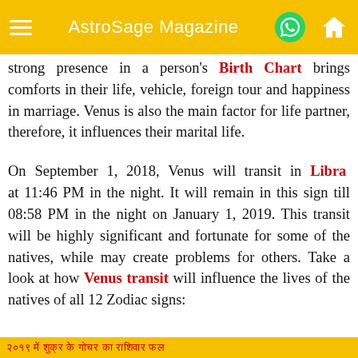AstroSage Magazine
strong presence in a person's Birth Chart brings comforts in their life, vehicle, foreign tour and happiness in marriage. Venus is also the main factor for life partner, therefore, it influences their marital life.
On September 1, 2018, Venus will transit in Libra at 11:46 PM in the night. It will remain in this sign till 08:58 PM in the night on January 1, 2019. This transit will be highly significant and fortunate for some of the natives, while may create problems for others. Take a look at how Venus transit will influence the lives of the natives of all 12 Zodiac signs:
footer navigation links